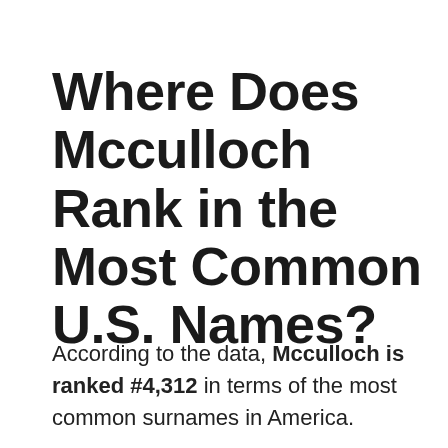Where Does Mcculloch Rank in the Most Common U.S. Names?
According to the data, Mcculloch is ranked #4,312 in terms of the most common surnames in America.